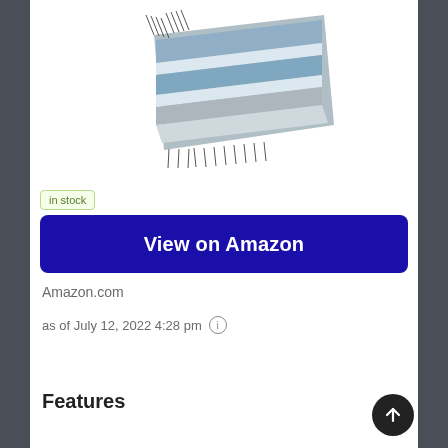[Figure (photo): Product photo of a folded woven blanket or towel with fringe edges, blue, white and gray striped pattern, shown at an angle on a white background.]
in stock
View on Amazon
Amazon.com
as of July 12, 2022 4:28 pm ⓘ
Features